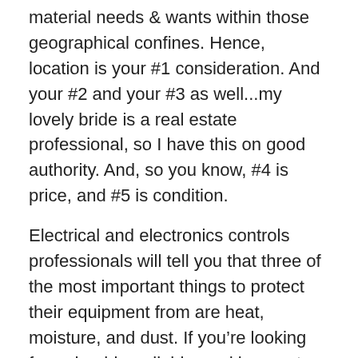material needs & wants within those geographical confines. Hence, location is your #1 consideration. And your #2 and your #3 as well...my lovely bride is a real estate professional, so I have this on good authority. And, so you know, #4 is price, and #5 is condition.
Electrical and electronics controls professionals will tell you that three of the most important things to protect their equipment from are heat, moisture, and dust. If you're looking for a durable, reliable, and low cost method for that, we've got the solution: the EXAIR Cabinet Cooler System. Selection of the right system comes down to determining your heat load, and...the reason for today's blog...the LOCATION in which it will be installed.
Let's say it's a control panel for one of the machines on a factory production line...indoors & dry.  Our NEMA 12 Cabinet Cooler